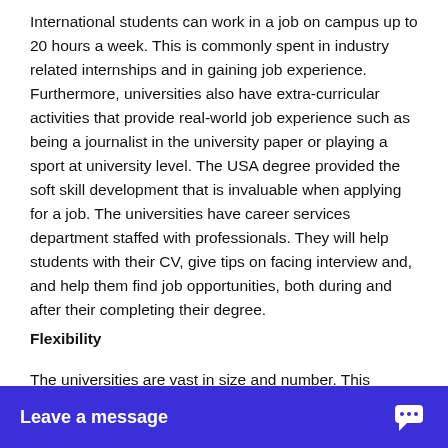International students can work in a job on campus up to 20 hours a week. This is commonly spent in industry related internships and in gaining job experience. Furthermore, universities also have extra-curricular activities that provide real-world job experience such as being a journalist in the university paper or playing a sport at university level. The USA degree provided the soft skill development that is invaluable when applying for a job. The universities have career services department staffed with professionals. They will help students with their CV, give tips on facing interview and, and help them find job opportunities, both during and after their completing their degree.
Flexibility
The universities are vast in size and number. This means that all students can find the fit that they want. Be it a vast campus to a small campus environment
[Figure (other): Blue chat widget bar at the bottom of the screen with text 'Leave a message' and a chat bubble icon on the right.]